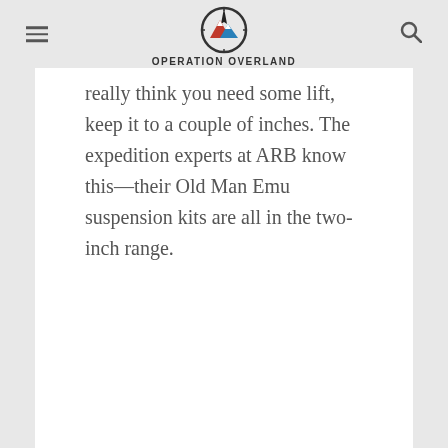OPERATION OVERLAND
really think you need some lift, keep it to a couple of inches. The expedition experts at ARB know this—their Old Man Emu suspension kits are all in the two-inch range.